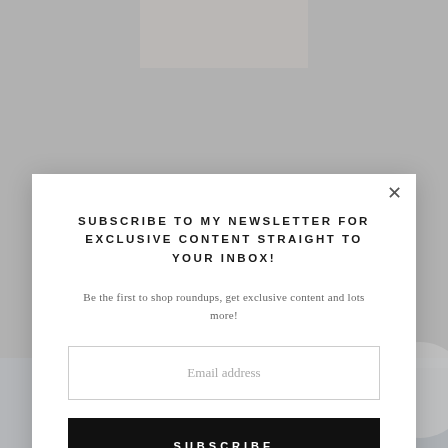[Figure (screenshot): Background of a blog page showing a bathroom design article with title 'THE PLAN: DREW'S BATHROOM' and a bathroom photo with a sink, faucet, and woven rug visible below the modal.]
SUBSCRIBE TO MY NEWSLETTER FOR EXCLUSIVE CONTENT STRAIGHT TO YOUR INBOX!
Be the first to shop roundups, get exclusive content and lots more!
Email address
SUBSCRIBE